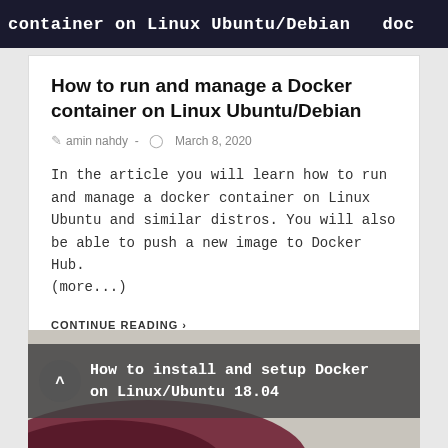container on Linux Ubuntu/Debian  dock
How to run and manage a Docker container on Linux Ubuntu/Debian
amin nahdy  -  March 8, 2020
In the article you will learn how to run and manage a docker container on Linux Ubuntu and similar distros. You will also be able to push a new image to Docker Hub. (more...)
CONTINUE READING ›
[Figure (screenshot): Terminal/banner image showing text: How to install and setup Docker on Linux/Ubuntu 18.04 with back-to-top arrow button and decorative swoosh graphic]